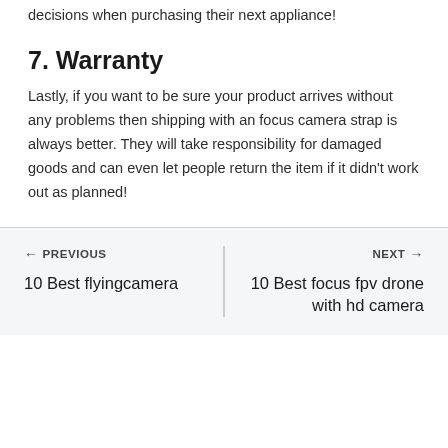decisions when purchasing their next appliance!
7. Warranty
Lastly, if you want to be sure your product arrives without any problems then shipping with an focus camera strap is always better. They will take responsibility for damaged goods and can even let people return the item if it didn't work out as planned!
← PREVIOUS
10 Best flyingcamera
NEXT →
10 Best focus fpv drone with hd camera